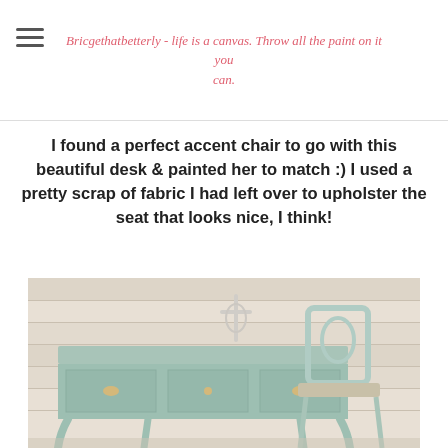Bricgethatbetterly - life is a canvas. Throw all the paint on it you can.
I found a perfect accent chair to go with this beautiful desk & painted her to match :) I used a pretty scrap of fabric I had left over to upholster the seat that looks nice, I think!
[Figure (photo): A painted mint/sage green vintage desk and matching accent chair against a whitewashed wood plank wall. A decorative cross sits on the desk. The furniture has ornate hardware and cabriole legs.]